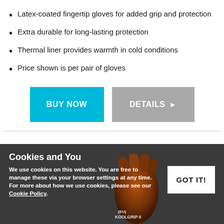Latex-coated fingertip gloves for added grip and protection
Extra durable for long-lasting protection
Thermal liner provides warmth in cold conditions
Price shown is per pair of gloves
[Figure (screenshot): Two buttons: BUY NOW (cyan/blue) and DETAILS with arrow (grey)]
Cookies and You
We use cookies on this website. You are free to manage these via your browser settings at any time. For more about how we use cookies, please see our Cookie Policy.
[Figure (photo): Partial image of a brown/orange work glove with text KOOLGRIP II visible at bottom right of dark section]